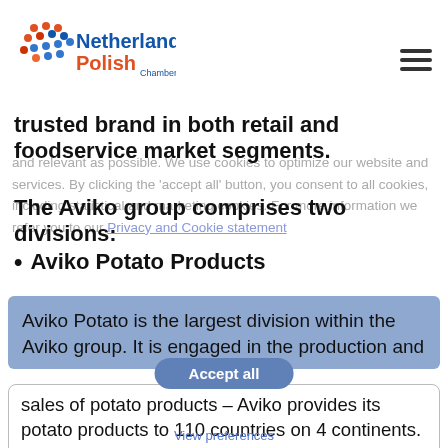[Figure (logo): Netherlands Polish Chamber of Commerce logo with colorful dots pattern and orange/blue text]
trusted brand in both retail and foodservice market segments.
The Aviko group comprises two divisions:
Aviko Potato Products
Aviko Potato is the largest division within the Aviko group. It is engaged in the production and sales of potato products – Aviko provides its potato products to 110 countries on 4 continents. This takes place from 'land to customer':
potatoes are purchased by our own Aviko Potato purchasing organization, and subsequently processed into chilled or frozen potato products